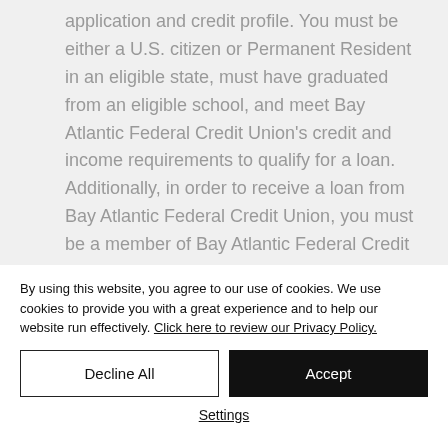application and credit profile. You must be either a U.S. citizen or Permanent Resident in an eligible state, must have graduated from an eligible school, and meet Bay Atlantic Federal Credit Union's credit and income requirements to qualify for a loan. Additionally, in order to receive a loan from Bay Atlantic Federal Credit Union, you must be a member of Bay Atlantic Federal Credit Union. If you are not a
By using this website, you agree to our use of cookies. We use cookies to provide you with a great experience and to help our website run effectively. Click here to review our Privacy Policy.
Decline All
Accept
Settings